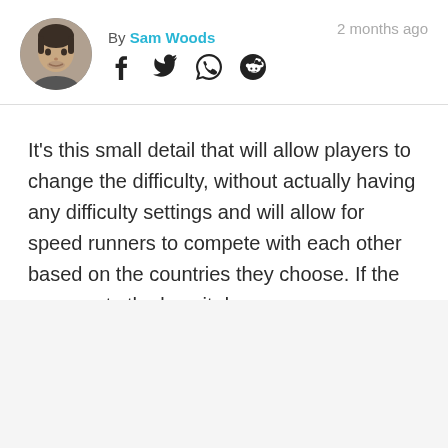[Figure (photo): Circular avatar photo of Sam Woods, a young man with dark hair]
By Sam Woods
[Figure (illustration): Social media share icons: Facebook, Twitter, WhatsApp, Reddit]
2 months ago
It's this small detail that will allow players to change the difficulty, without actually having any difficulty settings and will allow for speed runners to compete with each other based on the countries they choose. If the game gets the love it deserves.